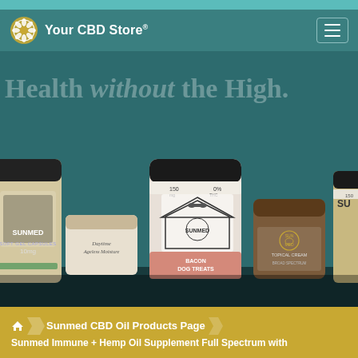Your CBD Store®
[Figure (photo): Hero banner showing multiple Sunmed CBD products including gel capsules (10mg), Daytime Ageless Moisture cream, Sunmed dog treats (150mg, 0% THC), Sunmed Topical Cream (broad spectrum), and another Sunmed product jar, displayed on a dark teal background.]
Health without the High.
Sunmed CBD Oil Products Page
Sunmed Immune + Hemp Oil Supplement Full Spectrum with